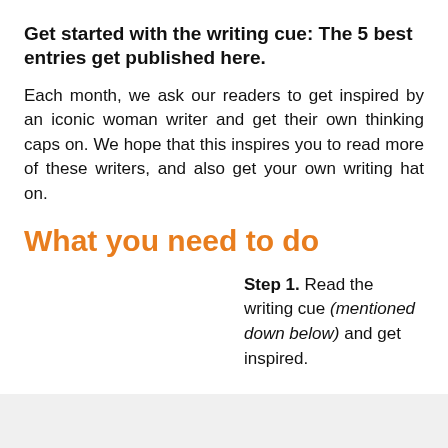Get started with the writing cue: The 5 best entries get published here.
Each month, we ask our readers to get inspired by an iconic woman writer and get their own thinking caps on. We hope that this inspires you to read more of these writers, and also get your own writing hat on.
What you need to do
Step 1. Read the writing cue (mentioned down below) and get inspired.